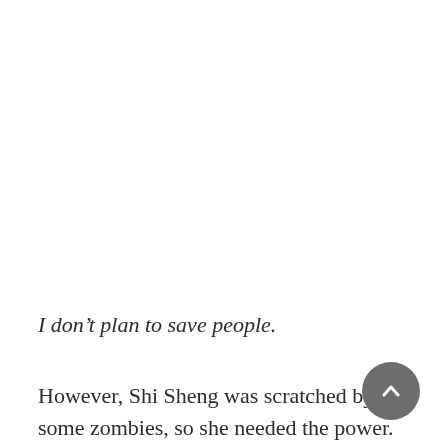I don't plan to save people.
However, Shi Sheng was scratched by some zombies, so she needed the power.
[Figure (other): A circular grey scroll-to-top button with a white upward chevron arrow, positioned in the bottom-right corner of the page.]